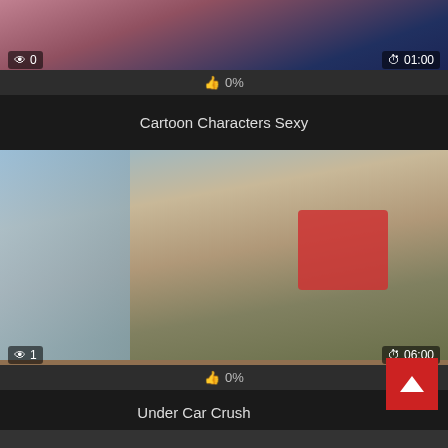[Figure (screenshot): Video thumbnail for Cartoon Characters Sexy showing partial image cropped at top]
0
01:00
0%
Cartoon Characters Sexy
[Figure (screenshot): Video thumbnail for Under Car Crush showing adult content scene]
1
06:00
0%
Under Car Crush